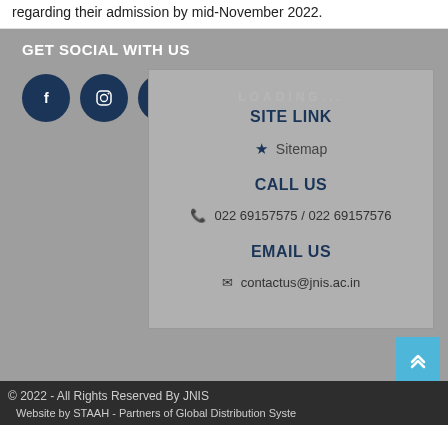regarding their admission by mid-November 2022.
GET SOCIAL WITH US
[Figure (illustration): Three social media icon circles: Facebook (f), Instagram (camera), YouTube (play button), in dark navy blue]
SITE LINK
★ Sitemap
CALL US
022 69157575 / 022 69157576
EMAIL US
contactus@jnis.ac.in
© 2022 - All Rights Reserved By JNIS
Website by STAAH - Partners of Global Distribution Syste